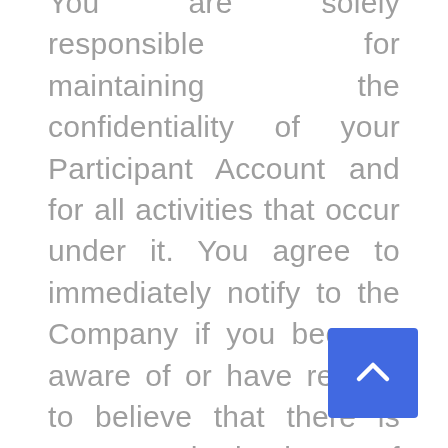You are solely responsible for maintaining the confidentiality of your Participant Account and for all activities that occur under it. You agree to immediately notify to the Company if you become aware of or have reason to believe that there is any unauthorized use of your Participant Account. You also agree to take all reasonable steps to stop such unauthorized use and to cooperate with the Company in any investigation of such unauthorized uses. The